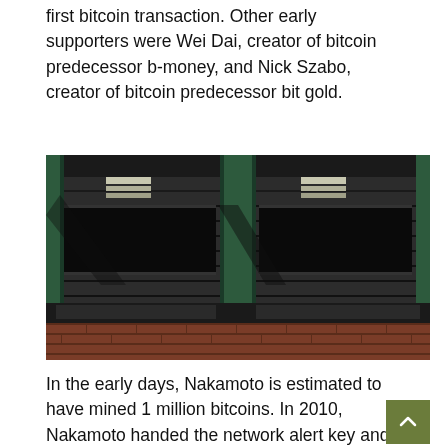first bitcoin transaction. Other early supporters were Wei Dai, creator of bitcoin predecessor b-money, and Nick Szabo, creator of bitcoin predecessor bit gold.
[Figure (photo): Photograph of an industrial or transit building exterior showing a metal-paneled facade with green structural columns, horizontal ventilation slats, dark window openings, and a brick base at the bottom.]
In the early days, Nakamoto is estimated to have mined 1 million bitcoins. In 2010, Nakamoto handed the network alert key and control of the Bitcoin Core code repository over to Gavin Andresen, who later became lead developer at the Bitcoin Foundation. Nakamoto subsequently disappeared from any